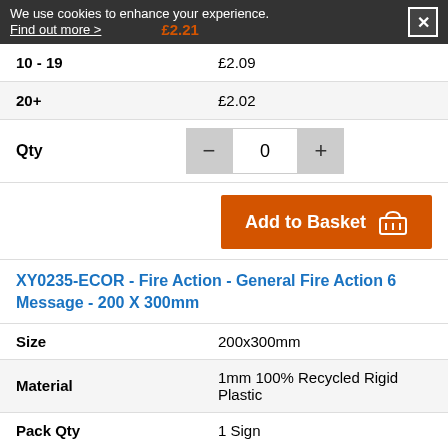We use cookies to enhance your experience. Find out more >   £2.21
| 10 - 19 | £2.09 |
| 20+ | £2.02 |
Qty  −  0  +
Add to Basket
XY0235-ECOR - Fire Action - General Fire Action 6 Message - 200 X 300mm
|  |  |
| --- | --- |
| Size | 200x300mm |
| Material | 1mm 100% Recycled Rigid Plastic |
| Pack Qty | 1 Sign |
| 1 | £9.14 |
| 2 - 4 | £8.95 |
| 5 - 9 | £8.64 |